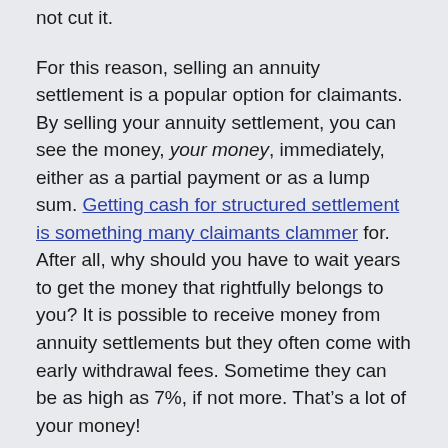not cut it.
For this reason, selling an annuity settlement is a popular option for claimants. By selling your annuity settlement, you can see the money, your money, immediately, either as a partial payment or as a lump sum. Getting cash for structured settlement is something many claimants clammer for. After all, why should you have to wait years to get the money that rightfully belongs to you? It is possible to receive money from annuity settlements but they often come with early withdrawal fees. Sometime they can be as high as 7%, if not more. That’s a lot of your money!
In order to avoid this and get the money that you need and deserve, consider selling your annuity payment. For more information on getting cash for structured